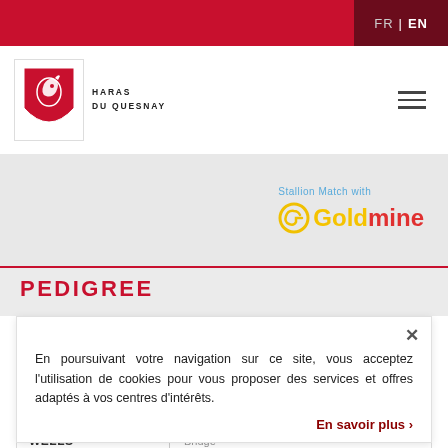FR | EN
[Figure (logo): Haras du Quesnay logo — shield with horse head in red and white, with text HARAS DU QUESNAY below]
[Figure (logo): Stallion Match with Goldmine logo — G icon in yellow and red, text Goldmine in yellow and red]
PEDIGREE
En poursuivant votre navigation sur ce site, vous acceptez l'utilisation de cookies pour vous proposer des services et offres adaptés à vos centres d'intérêts.
En savoir plus >
| SADLER'S WELLS | Folio Bridge |
| --- | --- |